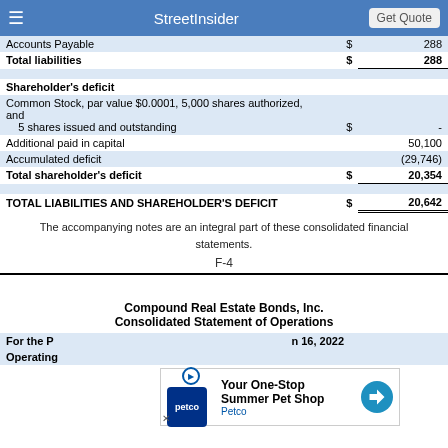StreetInsider | Get Quote
|  | $ |  |
| --- | --- | --- |
| Accounts Payable | $ | 288 |
| Total liabilities | $ | 288 |
| Shareholder's deficit |  |  |
| Common Stock, par value $0.0001, 5,000 shares authorized, and 5 shares issued and outstanding | $ | - |
| Additional paid in capital |  | 50,100 |
| Accumulated deficit |  | (29,746) |
| Total shareholder's deficit | $ | 20,354 |
| TOTAL LIABILITIES AND SHAREHOLDER'S DEFICIT | $ | 20,642 |
The accompanying notes are an integral part of these consolidated financial statements.
F-4
Compound Real Estate Bonds, Inc.
Consolidated Statement of Operations
For the Period from Inception ... to March 16, 2022
Operating